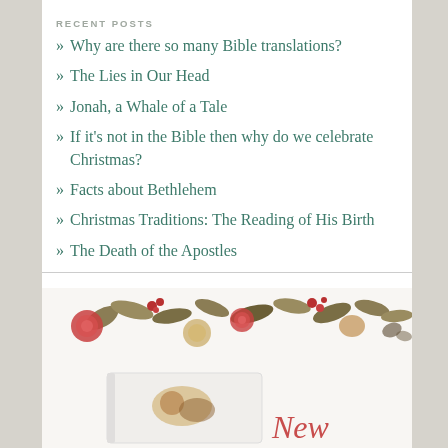RECENT POSTS
Why are there so many Bible translations?
The Lies in Our Head
Jonah, a Whale of a Tale
If it's not in the Bible then why do we celebrate Christmas?
Facts about Bethlehem
Christmas Traditions: The Reading of His Birth
The Death of the Apostles
[Figure (illustration): Watercolor floral arrangement with roses, leaves, and botanical elements, with a book or journal below and cursive script text visible at bottom right]